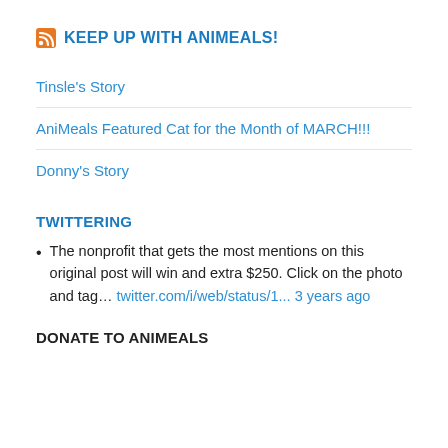KEEP UP WITH ANIMEALS!
Tinsle's Story
AniMeals Featured Cat for the Month of MARCH!!!
Donny's Story
TWITTERING
The nonprofit that gets the most mentions on this original post will win and extra $250. Click on the photo and tag… twitter.com/i/web/status/1... 3 years ago
DONATE TO ANIMEALS